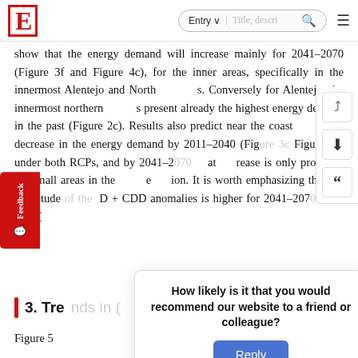E  [logo]  Entry ▾  Title, descri…  🔍  ≡
show that the energy demand will increase mainly for 2041–2070 (Figure 3f and Figure 4c), for the inner areas, specifically in the innermost Alentejo and North regions. Conversely for Alentejo, the innermost northern regions present already the highest energy demand in the past (Figure 2c). Results also predict near the coast a significant decrease in the energy demand by 2011–2040 (Figure 3c and Figure 4c) under both RCPs, and by 2041–2070 that decrease is only projected for small areas in the same region. It is worth emphasizing that the amplitude of the HDD + CDD anomalies is higher for 2041–2070 under RCP8.5 (
3. Trends in (…)
Figure 5 … cant (at a